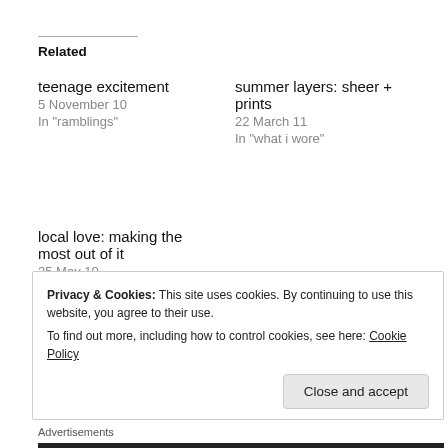Related
teenage excitement
5 November 10
In "ramblings"
summer layers: sheer + prints
22 March 11
In "what i wore"
local love: making the most out of it
25 May 10
In "what i wore"
Privacy & Cookies: This site uses cookies. By continuing to use this website, you agree to their use.
To find out more, including how to control cookies, see here: Cookie Policy
Close and accept
Advertisements